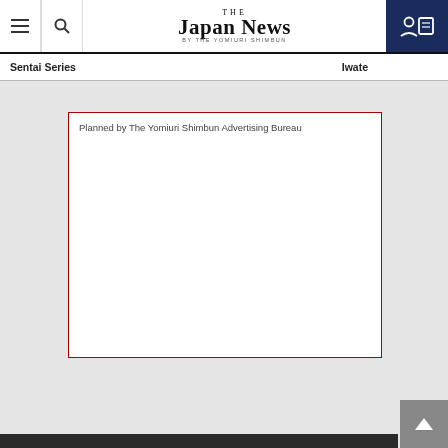THE JAPAN NEWS BY THE YOMIURI SHIMBUN
Looking at history of... Korea flyers seeking women through SNS... business reports posted
Sentai Series    Iwate
[Figure (other): Advertisement placeholder box with red border, labeled 'Planned by The Yomiuri Shimbun Advertising Bureau']